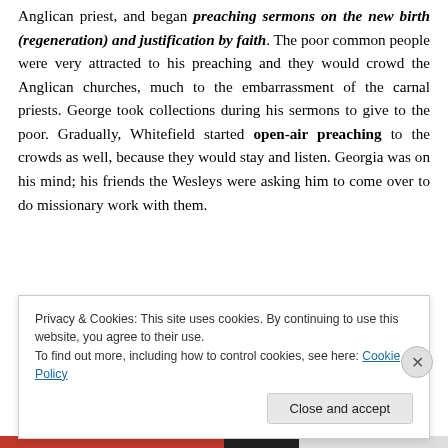Anglican priest, and began preaching sermons on the new birth (regeneration) and justification by faith. The poor common people were very attracted to his preaching and they would crowd the Anglican churches, much to the embarrassment of the carnal priests. George took collections during his sermons to give to the poor. Gradually, Whitefield started open-air preaching to the crowds as well, because they would stay and listen. Georgia was on his mind; his friends the Wesleys were asking him to come over to do missionary work with them.
Privacy & Cookies: This site uses cookies. By continuing to use this website, you agree to their use.
To find out more, including how to control cookies, see here: Cookie Policy